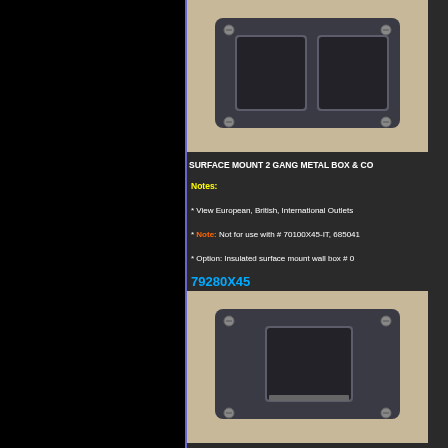[Figure (photo): Surface mount 2 gang metal box in dark gray, showing two rectangular openings side by side with mounting screws]
SURFACE MOUNT 2 GANG METAL BOX & CO...
Notes:
* View European, British, International Outlets
* Note: Not for use with # 70100X45-IT, 685041...
* Option: Insulated surface mount wall box # ...
79280X45
[Figure (photo): Surface mount 1.5 gang metal box in dark gray, showing one rectangular opening with mounting screws]
SURFACE MOUNT 1.5 GANG METAL BOX AND GRAY.
Notes:
* View European, British, International Outlets
* Note: Not for use with # 70100X45-IT, 685041...
* Option: Insulated surface mount wall box # ...